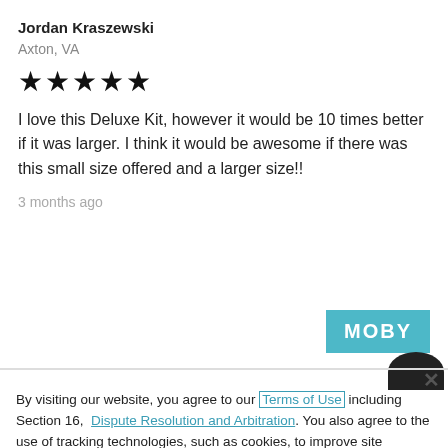Jordan Kraszewski
Axton, VA
★★★★★
I love this Deluxe Kit, however it would be 10 times better if it was larger. I think it would be awesome if there was this small size offered and a larger size!!
3 months ago
[Figure (logo): MOBY logo on teal/cyan background]
By visiting our website, you agree to our Terms of Use including Section 16, Dispute Resolution and Arbitration. You also agree to the use of tracking technologies, such as cookies, to improve site functionality, personalize site content, analyze site traffic, advertise on other sites and record how you interact with our site. You can adjust how certain technologies are